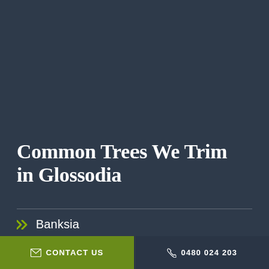Common Trees We Trim in Glossodia
Banksia
CONTACT US   0480 024 203